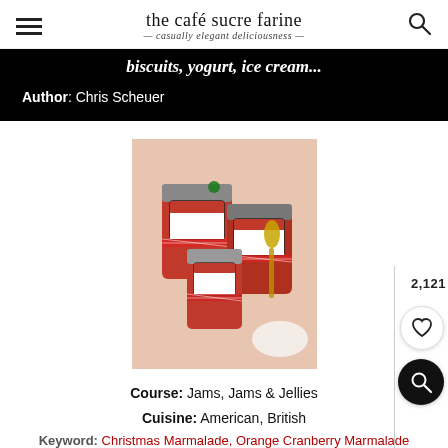the café sucre farine — casually elegant deliciousness
biscuits, yogurt, ice cream...
Author: Chris Scheuer
[Figure (photo): Photo of red jam jars with gingham ribbon labels on a festive table setting with gold cutlery]
Course: Jams, Jams & Jellies
Cuisine: American, British
Keyword: Christmas Marmalade, Orange Cranberry Marmalade